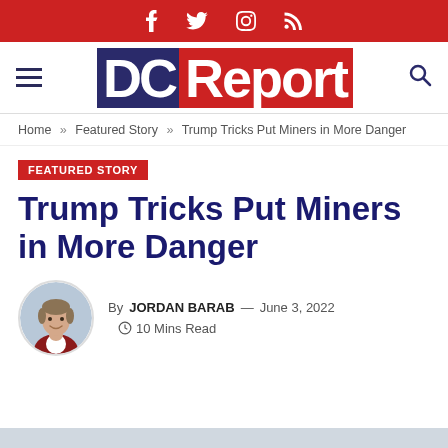DC Report - social icons bar (Facebook, Twitter, Instagram, RSS)
[Figure (logo): DC Report logo with blue and red background]
Home » Featured Story » Trump Tricks Put Miners in More Danger
FEATURED STORY
Trump Tricks Put Miners in More Danger
By JORDAN BARAB — June 3, 2022  10 Mins Read